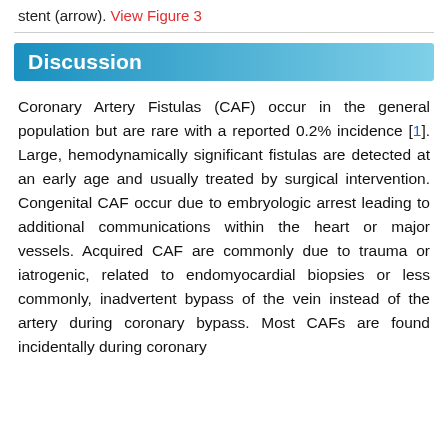stent (arrow). View Figure 3
Discussion
Coronary Artery Fistulas (CAF) occur in the general population but are rare with a reported 0.2% incidence [1]. Large, hemodynamically significant fistulas are detected at an early age and usually treated by surgical intervention. Congenital CAF occur due to embryologic arrest leading to additional communications within the heart or major vessels. Acquired CAF are commonly due to trauma or iatrogenic, related to endomyocardial biopsies or less commonly, inadvertent bypass of the vein instead of the artery during coronary bypass. Most CAFs are found incidentally during coronary